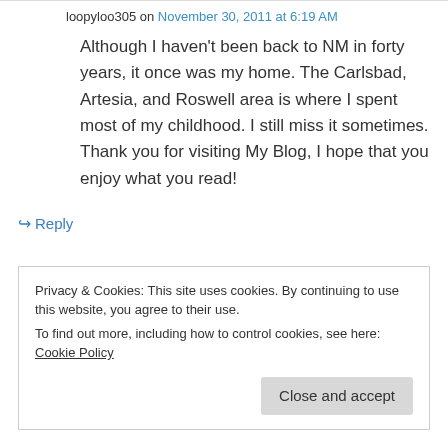loopyloo305 on November 30, 2011 at 6:19 AM
Although I haven't been back to NM in forty years, it once was my home. The Carlsbad, Artesia, and Roswell area is where I spent most of my childhood. I still miss it sometimes. Thank you for visiting My Blog, I hope that you enjoy what you read!
↪ Reply
Privacy & Cookies: This site uses cookies. By continuing to use this website, you agree to their use.
To find out more, including how to control cookies, see here: Cookie Policy
Close and accept